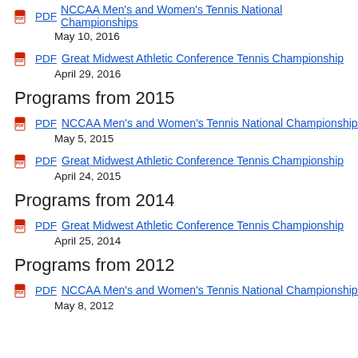PDF NCCAA Men's and Women's Tennis National Championships
May 10, 2016
PDF Great Midwest Athletic Conference Tennis Championship
April 29, 2016
Programs from 2015
PDF NCCAA Men's and Women's Tennis National Championship
May 5, 2015
PDF Great Midwest Athletic Conference Tennis Championship
April 24, 2015
Programs from 2014
PDF Great Midwest Athletic Conference Tennis Championship
April 25, 2014
Programs from 2012
PDF NCCAA Men's and Women's Tennis National Championship
May 8, 2012